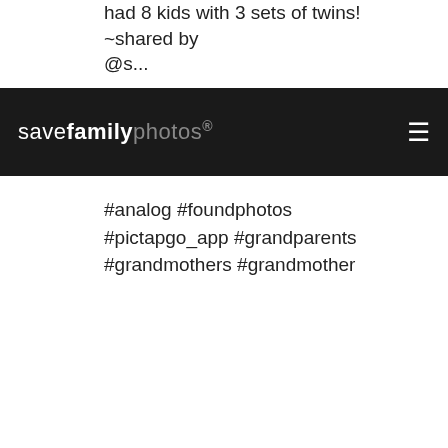had 8 kids with 3 sets of twins!
~shared by
@s...
savefamilyphotos.
#analog #foundphotos #pictapgo_app #grandparents #grandmothers #grandmother